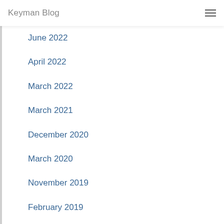Keyman Blog
June 2022
April 2022
March 2022
March 2021
December 2020
March 2020
November 2019
February 2019
January 2019
November 2018
October 2018
June 2018